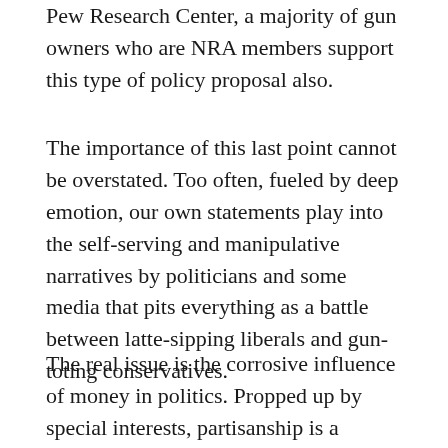Pew Research Center, a majority of gun owners who are NRA members support this type of policy proposal also.
The importance of this last point cannot be overstated. Too often, fueled by deep emotion, our own statements play into the self-serving and manipulative narratives by politicians and some media that pits everything as a battle between latte-sipping liberals and gun-toting conservatives.
The real issue is the corrosive influence of money in politics. Propped up by special interests, partisanship is a construct that offers convenient scapegoats: the irresponsible other side. Partisanship is a proxy battle